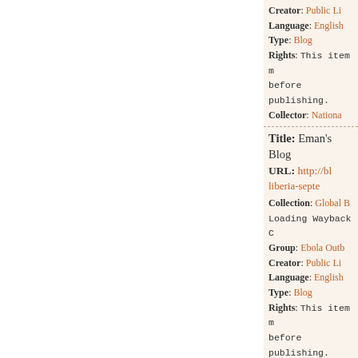Creator: Public Li...
Language: English
Type: Blog
Rights: This item m... before publishing.
Collector: Nationa...
Title: Eman's Blog
URL: http://bl...liberia-septe...
Collection: Global B...
Loading Wayback C...
Group: Ebola Outb...
Creator: Public Li...
Language: English
Type: Blog
Rights: This item m... before publishing.
Geographic Locatio...
Collector: Nationa...
Title: Eman R...